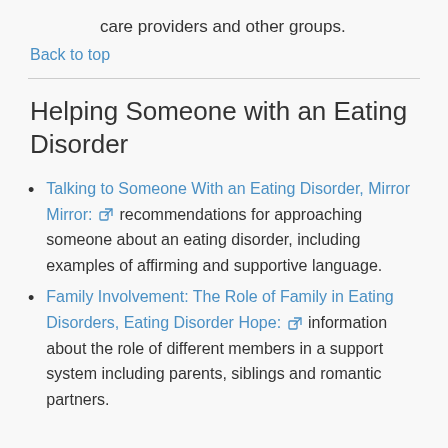care providers and other groups.
Back to top
Helping Someone with an Eating Disorder
Talking to Someone With an Eating Disorder, Mirror Mirror: [external link] recommendations for approaching someone about an eating disorder, including examples of affirming and supportive language.
Family Involvement: The Role of Family in Eating Disorders, Eating Disorder Hope: [external link] information about the role of different members in a support system including parents, siblings and romantic partners.